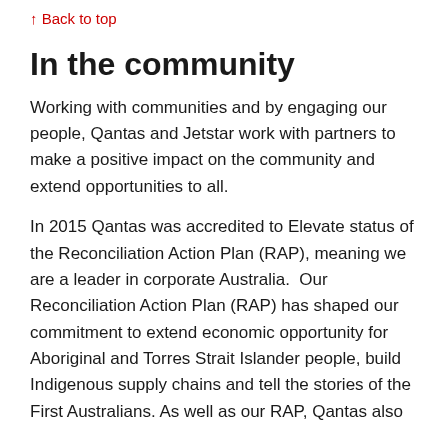↑ Back to top
In the community
Working with communities and by engaging our people, Qantas and Jetstar work with partners to make a positive impact on the community and extend opportunities to all.
In 2015 Qantas was accredited to Elevate status of the Reconciliation Action Plan (RAP), meaning we are a leader in corporate Australia.  Our Reconciliation Action Plan (RAP) has shaped our commitment to extend economic opportunity for Aboriginal and Torres Strait Islander people, build Indigenous supply chains and tell the stories of the First Australians. As well as our RAP, Qantas also